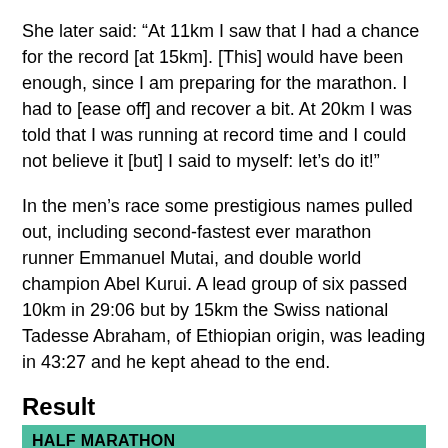She later said: “At 11km I saw that I had a chance for the record [at 15km]. [This] would have been enough, since I am preparing for the marathon. I had to [ease off] and recover a bit. At 20km I was told that I was running at record time and I could not believe it [but] I said to myself: let’s do it!”
In the men’s race some prestigious names pulled out, including second-fastest ever marathon runner Emmanuel Mutai, and double world champion Abel Kurui. A lead group of six passed 10km in 29:06 but by 15km the Swiss national Tadesse Abraham, of Ethiopian origin, was leading in 43:27 and he kept ahead to the end.
Result
HALF MARATHON
Men